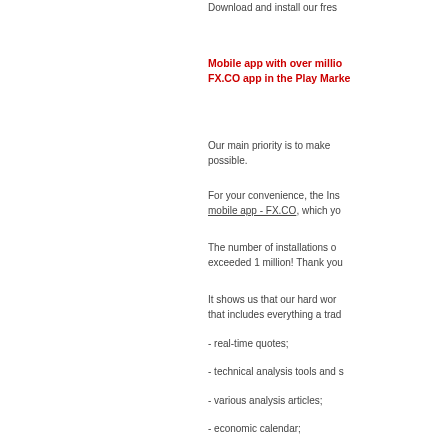Download and install our fres
Mobile app with over millio FX.CO app in the Play Marke
Our main priority is to make possible.
For your convenience, the Ins mobile app - FX.CO, which yo
The number of installations o exceeded 1 million! Thank you
It shows us that our hard wor that includes everything a trad
- real-time quotes;
- technical analysis tools and s
- various analysis articles;
- economic calendar;
- analysts´ trading recommend